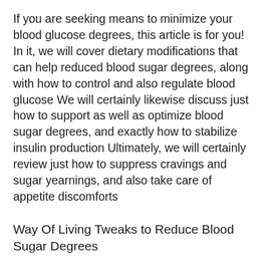If you are seeking means to minimize your blood glucose degrees, this article is for you! In it, we will cover dietary modifications that can help reduced blood sugar degrees, along with how to control and also regulate blood glucose We will certainly likewise discuss just how to support as well as optimize blood sugar degrees, and exactly how to stabilize insulin production Ultimately, we will certainly review just how to suppress cravings and sugar yearnings, and also take care of appetite discomforts
Way Of Living Tweaks to Reduce Blood Sugar Degrees